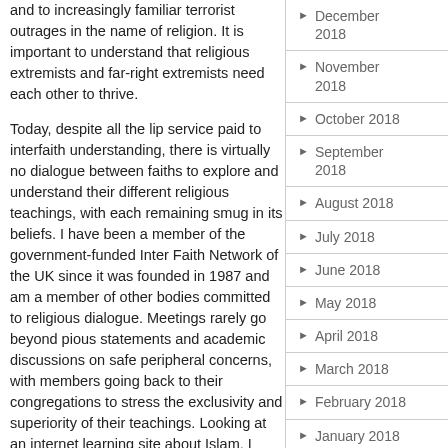and to increasingly familiar terrorist outrages in the name of religion. It is important to understand that religious extremists and far-right extremists need each other to thrive.
Today, despite all the lip service paid to interfaith understanding, there is virtually no dialogue between faiths to explore and understand their different religious teachings, with each remaining smug in its beliefs. I have been a member of the government-funded Inter Faith Network of the UK since it was founded in 1987 and am a member of other bodies committed to religious dialogue. Meetings rarely go beyond pious statements and academic discussions on safe peripheral concerns, with members going back to their congregations to stress the exclusivity and superiority of their teachings. Looking at an internet learning site about Islam, I
December 2018
November 2018
October 2018
September 2018
August 2018
July 2018
June 2018
May 2018
April 2018
March 2018
February 2018
January 2018
December